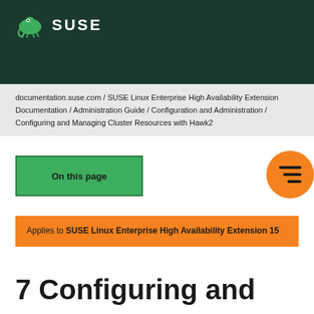SUSE
documentation.suse.com / SUSE Linux Enterprise High Availability Extension Documentation / Administration Guide / Configuration and Administration / Configuring and Managing Cluster Resources with Hawk2
On this page
Applies to SUSE Linux Enterprise High Availability Extension 15
7 Configuring and